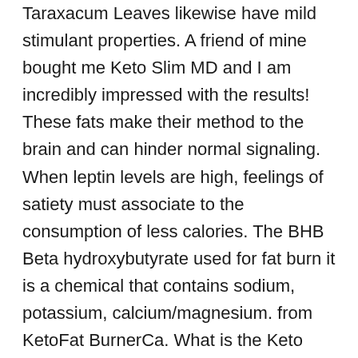Taraxacum Leaves likewise have mild stimulant properties. A friend of mine bought me Keto Slim MD and I am incredibly impressed with the results! These fats make their method to the brain and can hinder normal signaling. When leptin levels are high, feelings of satiety must associate to the consumption of less calories. The BHB Beta hydroxybutyrate used for fat burn it is a chemical that contains sodium, potassium, calcium/magnesium. from KetoFat BurnerCa. What is the Keto Slim MD? There is a strong connection between excess visceral fat and heart disease. Touting their discovery as â a great step forward in weight loss history,â  the judges were quick to offer up their hard earned cash to back the entrepreneurial pair. When the brain is still in starvation mode because of the dysfunction in the hormonal agent receptors, the body incorrectly thinks leptin levels are low which signals the